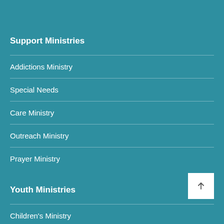Support Ministries
Addictions Ministry
Special Needs
Care Ministry
Outreach Ministry
Prayer Ministry
Youth Ministries
Children's Ministry